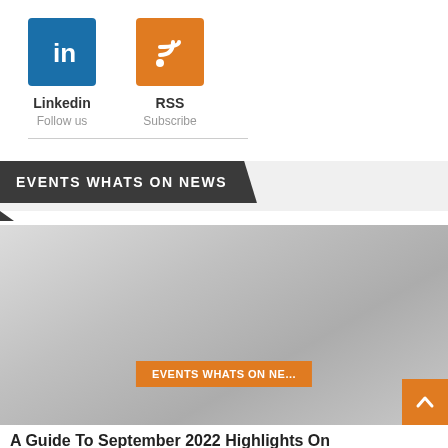[Figure (logo): LinkedIn icon - blue square with white 'in' text]
[Figure (logo): RSS icon - orange square with white wifi/rss symbol]
Linkedin
Follow us
RSS
Subscribe
EVENTS WHATS ON NEWS
[Figure (photo): Large grey gradient placeholder image for news article]
EVENTS WHATS ON NE...
A Guide To September 2022 Highlights On